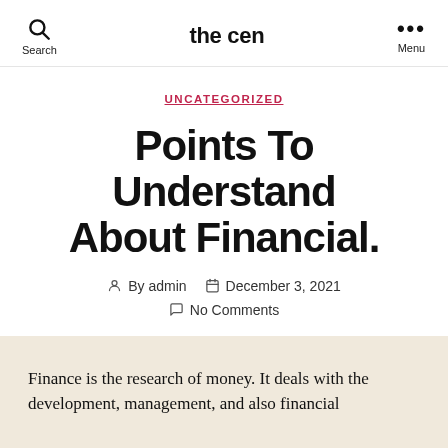the cen
UNCATEGORIZED
Points To Understand About Financial.
By admin   December 3, 2021   No Comments
Finance is the research of money. It deals with the development, management, and also financial